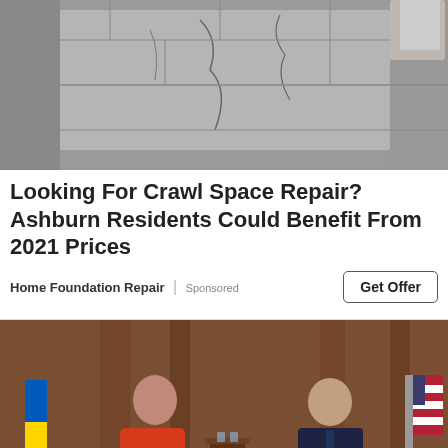[Figure (photo): Photo of a damaged concrete crawl space wall with cracks and deterioration visible]
Looking For Crawl Space Repair? Ashburn Residents Could Benefit From 2021 Prices
Home Foundation Repair | Sponsored
Get Offer
[Figure (photo): Photo of a TV interview setting with a woman in a red dress interviewing a man in a dark suit, with a Ukrainian flag and US flag visible in the background]